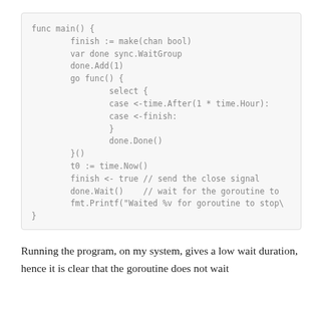[Figure (screenshot): Code block showing Go programming language main function with goroutine using select, channels, sync.WaitGroup, and time operations]
Running the program, on my system, gives a low wait duration, hence it is clear that the goroutine does not wait